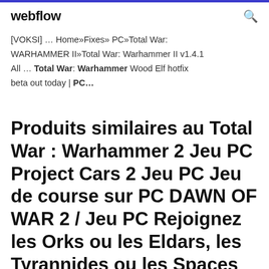webflow
[VOKSI] … Home»Fixes» PC»Total War: WARHAMMER II»Total War: Warhammer II v1.4.1 All … Total War: Warhammer Wood Elf hotfix beta out today | PC…
Produits similaires au Total War : Warhammer 2 Jeu PC Project Cars 2 Jeu PC Jeu de course sur PC DAWN OF WAR 2 / Jeu PC Rejoignez les Orks ou les Eldars, les Tyrannides ou les Spaces marines pour des combats à grands coups de régiments